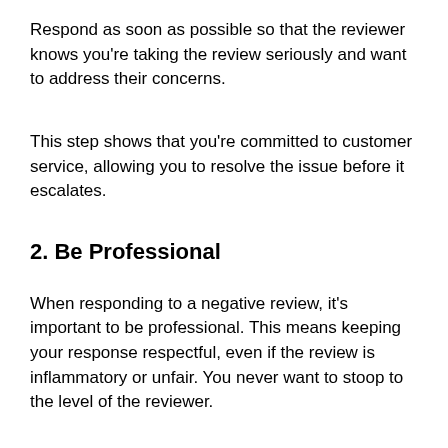Respond as soon as possible so that the reviewer knows you're taking the review seriously and want to address their concerns.
This step shows that you're committed to customer service, allowing you to resolve the issue before it escalates.
2. Be Professional
When responding to a negative review, it's important to be professional. This means keeping your response respectful, even if the review is inflammatory or unfair. You never want to stoop to the level of the reviewer.
Being professional will show that you're a serious business owner who takes your customers seriously.